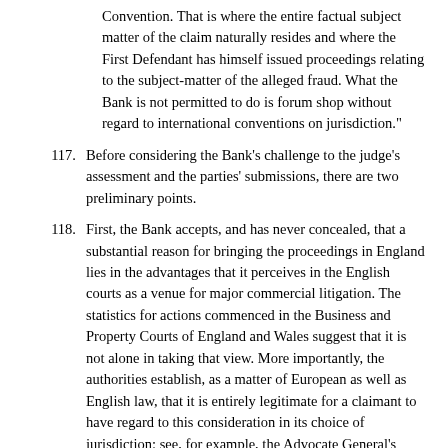Convention. That is where the entire factual subject matter of the claim naturally resides and where the First Defendant has himself issued proceedings relating to the subject-matter of the alleged fraud. What the Bank is not permitted to do is forum shop without regard to international conventions on jurisdiction."
117. Before considering the Bank's challenge to the judge's assessment and the parties' submissions, there are two preliminary points.
118. First, the Bank accepts, and has never concealed, that a substantial reason for bringing the proceedings in England lies in the advantages that it perceives in the English courts as a venue for major commercial litigation. The statistics for actions commenced in the Business and Property Courts of England and Wales suggest that it is not alone in taking that view. More importantly, the authorities establish, as a matter of European as well as English law, that it is entirely legitimate for a claimant to have regard to this consideration in its choice of jurisdiction: see, for example, the Advocate General's Opinion in Cartel Damage at [80]. Having said